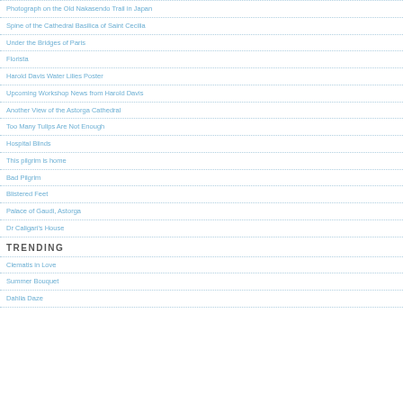Photograph on the Old Nakasendo Trail in Japan
Spine of the Cathedral Basilica of Saint Cecilia
Under the Bridges of Paris
Florista
Harold Davis Water Lilies Poster
Upcoming Workshop News from Harold Davis
Another View of the Astorga Cathedral
Too Many Tulips Are Not Enough
Hospital Blinds
This pilgrim is home
Bad Pilgrim
Blistered Feet
Palace of Gaudi, Astorga
Dr Caligari's House
TRENDING
Clematis in Love
Summer Bouquet
Dahlia Daze